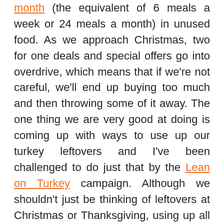month (the equivalent of 6 meals a week or 24 meals a month) in unused food. As we approach Christmas, two for one deals and special offers go into overdrive, which means that if we're not careful, we'll end up buying too much and then throwing some of it away. The one thing we are very good at doing is coming up with ways to use up our turkey leftovers and I've been challenged to do just that by the Lean on Turkey campaign. Although we shouldn't just be thinking of leftovers at Christmas or Thanksgiving, using up all the little bits we have in the fridge and making the most of a roast should be the way forward all year round. I'm tapping into my Eastern European roots a little with this recipe for a turkey stroganoff, which uses up leftover turkey (or any poultry, really) along with some red onions, mushrooms, mustard, soured